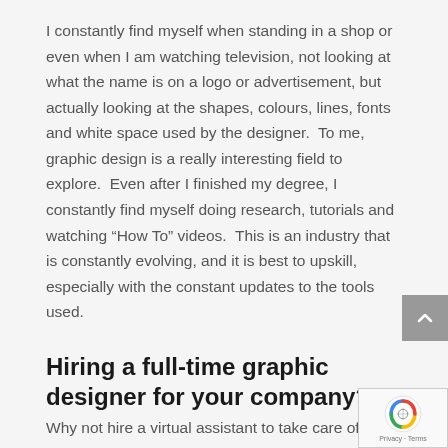I constantly find myself when standing in a shop or even when I am watching television, not looking at what the name is on a logo or advertisement, but actually looking at the shapes, colours, lines, fonts and white space used by the designer.  To me, graphic design is a really interesting field to explore.  Even after I finished my degree, I constantly find myself doing research, tutorials and watching “How To” videos.  This is an industry that is constantly evolving, and it is best to upskill, especially with the constant updates to the tools used.
Hiring a full-time graphic designer for your company?
Why not hire a virtual assistant to take care of the graphic design tasks you must get done in your company? Your virtual assistant can take tasks such